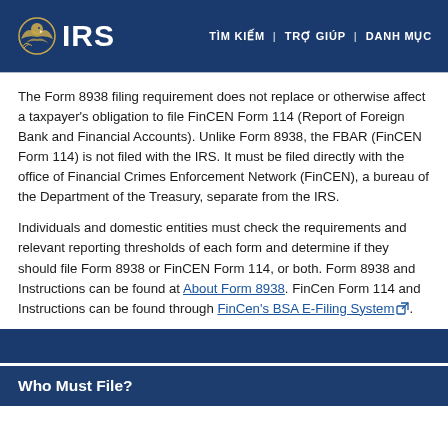IRS | TÌM KIẾM | TRỢ GIÚP | DANH MỤC
The Form 8938 filing requirement does not replace or otherwise affect a taxpayer's obligation to file FinCEN Form 114 (Report of Foreign Bank and Financial Accounts). Unlike Form 8938, the FBAR (FinCEN Form 114) is not filed with the IRS. It must be filed directly with the office of Financial Crimes Enforcement Network (FinCEN), a bureau of the Department of the Treasury, separate from the IRS.
Individuals and domestic entities must check the requirements and relevant reporting thresholds of each form and determine if they should file Form 8938 or FinCEN Form 114, or both. Form 8938 and Instructions can be found at About Form 8938. FinCen Form 114 and Instructions can be found through FinCen's BSA E-Filing System.
Who Must File?